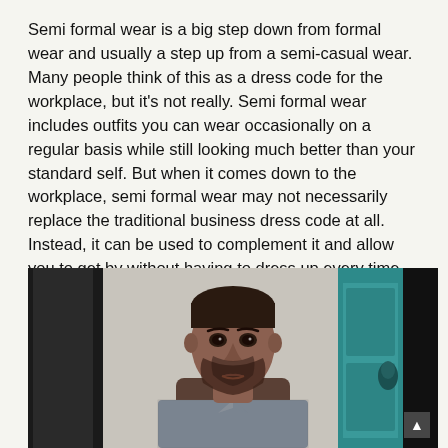Semi formal wear is a big step down from formal wear and usually a step up from a semi-casual wear. Many people think of this as a dress code for the workplace, but it's not really. Semi formal wear includes outfits you can wear occasionally on a regular basis while still looking much better than your standard self. But when it comes down to the workplace, semi formal wear may not necessarily replace the traditional business dress code at all. Instead, it can be used to complement it and allow you to get by without having to dress up every time you step foot in the office.
[Figure (photo): A man with short hair and a beard wearing a checked/grey shirt, photographed from the shoulders up, standing in front of a light wall with a teal/turquoise door or paneling visible on the right side and dark door frame on the left. A small scroll-up button is visible in the bottom right corner of the image.]